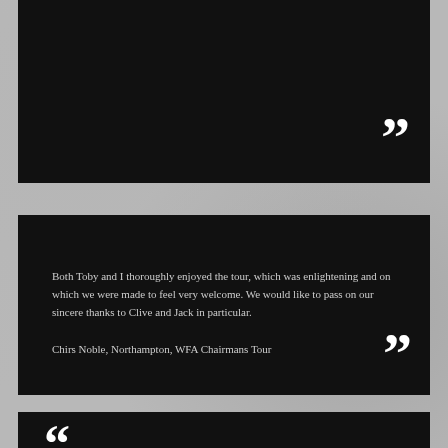[Figure (other): Top black panel with closing quotation mark in lower-right corner]
Both Toby and I thoroughly enjoyed the tour, which was enlightening and on which we were made to feel very welcome. We would like to pass on our sincere thanks to Clive and Jack in particular.

Chirs Noble, Northampton, WFA Chairmans Tour
[Figure (other): Middle black panel with quote text and closing quotation mark in lower-right corner]
[Figure (other): Bottom black panel with opening quotation mark in upper-left corner]